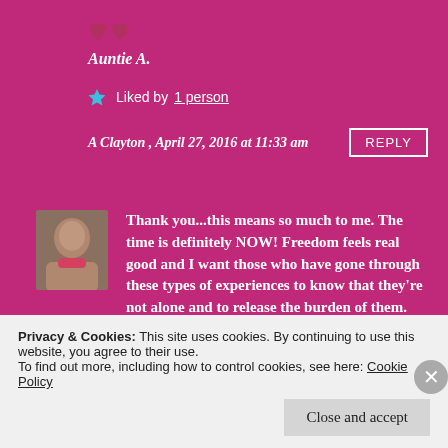[Figure (illustration): Two dark red/maroon heart icons]
Auntie A.
★ Liked by 1 person
A Clayton , April 27, 2016 at 11:33 am
REPLY
[Figure (photo): Small avatar photo of a person]
Thank you...this means so much to me. The time is definitely NOW! Freedom feels real good and I want those who have gone through these types of experiences to know that they're not alone and to release the burden of them.
Privacy & Cookies: This site uses cookies. By continuing to use this website, you agree to their use.
To find out more, including how to control cookies, see here: Cookie Policy
Close and accept